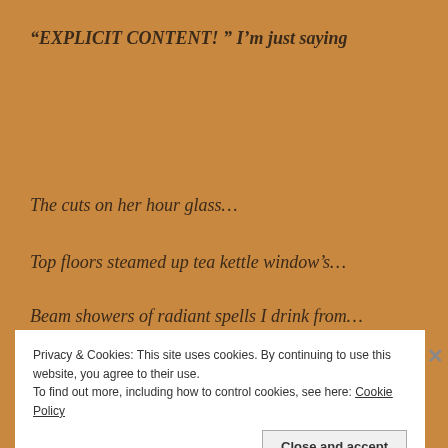“EXPLICIT CONTENT! ” I’m just saying
The cuts on her hour glass…
Top floors steamed up tea kettle window’s…
Beam showers of radiant spells I drink from…
Privacy & Cookies: This site uses cookies. By continuing to use this website, you agree to their use.
To find out more, including how to control cookies, see here: Cookie Policy
Close and accept